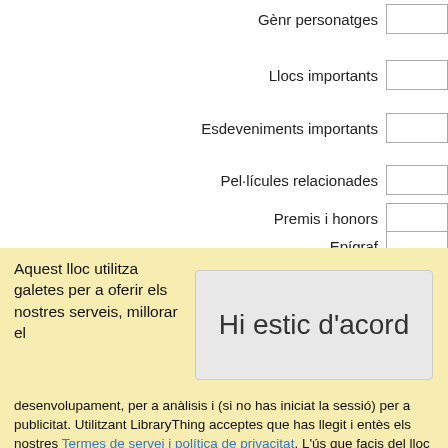Gènrersonatges
Llocs importants
Esdeveniments importants
Pel·lícules relacionades
Premis i honors
Epígraf
Aquest lloc utilitza galetes per a oferir els nostres serveis, millorar el
Hi estic d'acord
desenvolupament, per a anàlisis i (si no has iniciat la sessió) per a publicitat. Utilitzant LibraryThing acceptes que has llegit i entès els nostres Termes de servei i política de privacitat. L'ús que facis del lloc i dels seus serveis està subjecte a aquestes polítiques i termes.